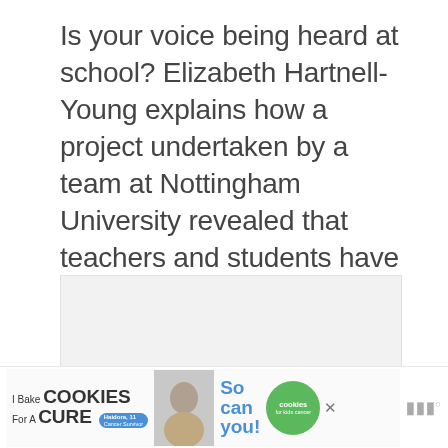Is your voice being heard at school? Elizabeth Hartnell-Young explains how a project undertaken by a team at Nottingham University revealed that teachers and students have a lot to say about the learning process, and that they should be heard
[Figure (photo): Placeholder image area below the title text block]
[Figure (infographic): Advertisement banner: I Bake COOKIES For A CURE - So can you! with Cookies for Kids Cancer logo, photo of child, close button and wordmark]